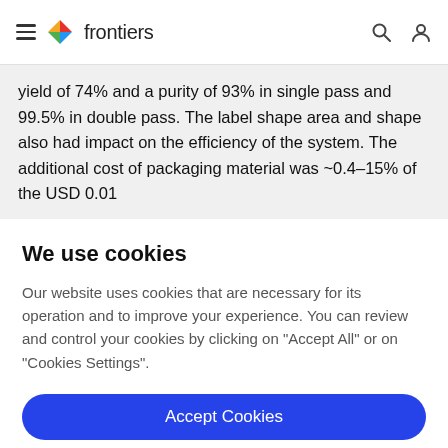frontiers
yield of 74% and a purity of 93% in single pass and 99.5% in double pass. The label shape area and shape also had impact on the efficiency of the system. The additional cost of packaging material was ~0.4–15% of the USD 0.01 ...
We use cookies
Our website uses cookies that are necessary for its operation and to improve your experience. You can review and control your cookies by clicking on "Accept All" or on "Cookies Settings".
Accept Cookies
Cookies Settings